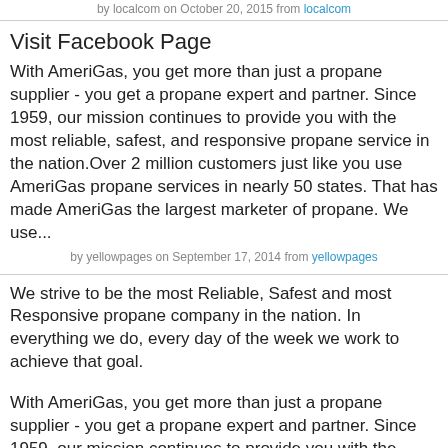by localcom on October 20, 2015 from localcom
Visit Facebook Page
With AmeriGas, you get more than just a propane supplier - you get a propane expert and partner. Since 1959, our mission continues to provide you with the most reliable, safest, and responsive propane service in the nation.Over 2 million customers just like you use AmeriGas propane services in nearly 50 states. That has made AmeriGas the largest marketer of propane. We use...
by yellowpages on September 17, 2014 from yellowpages
We strive to be the most Reliable, Safest and most Responsive propane company in the nation. In everything we do, every day of the week we work to achieve that goal.
With AmeriGas, you get more than just a propane supplier - you get a propane expert and partner. Since 1959, our mission continues to provide you with the most reliable, safest, and responsive propane service in the nation.Over 2...
by localcom on August 06, 2014 from localcom
With AmeriGas, you get more than just a propane supplier - you get a propane expert and partner. Since 1959, our